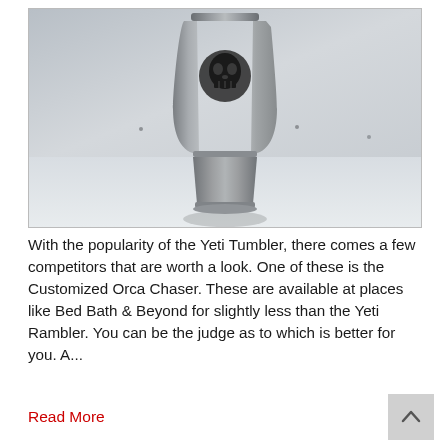[Figure (photo): A stainless steel tumbler/cup with a Punisher skull logo engraved on it, placed on a white surface against a light gray background.]
With the popularity of the Yeti Tumbler, there comes a few competitors that are worth a look. One of these is the Customized Orca Chaser. These are available at places like Bed Bath & Beyond for slightly less than the Yeti Rambler. You can be the judge as to which is better for you. A...
Read More